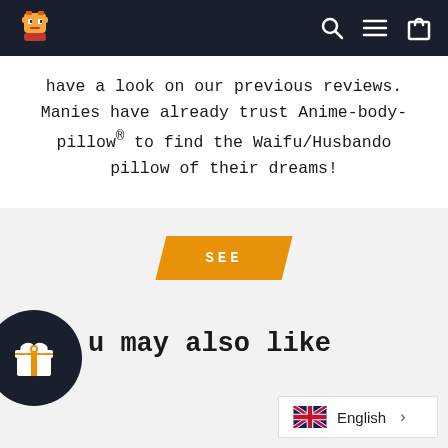Navigation bar with logo and icons
have a look on our previous reviews. Manies have already trust Anime-body-pillow® to find the Waifu/Husbando pillow of their dreams!
SEE
u may also like
[Figure (other): Dark circular badge with gift box icon]
English >